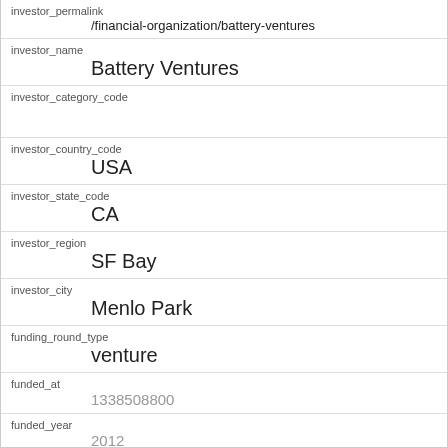| Field | Value |
| --- | --- |
| investor_permalink | /financial-organization/battery-ventures |
| investor_name | Battery Ventures |
| investor_category_code |  |
| investor_country_code | USA |
| investor_state_code | CA |
| investor_region | SF Bay |
| investor_city | Menlo Park |
| funding_round_type | venture |
| funded_at | 1338508800 |
| funded_year | 2012 |